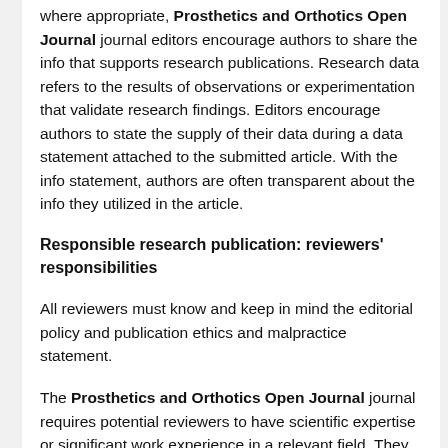Where appropriate, Prosthetics and Orthotics Open Journal journal editors encourage authors to share the info that supports research publications. Research data refers to the results of observations or experimentation that validate research findings. Editors encourage authors to state the supply of their data during a data statement attached to the submitted article. With the info statement, authors are often transparent about the info they utilized in the article.
Responsible research publication: reviewers' responsibilities
All reviewers must know and keep in mind the editorial policy and publication ethics and malpractice statement.
The Prosthetics and Orthotics Open Journal journal requires potential reviewers to have scientific expertise or significant work experience in a relevant field. They must have recently conducted research work and have acquired recognized expertise by their peers. Potential reviewers should provide personal and professional information